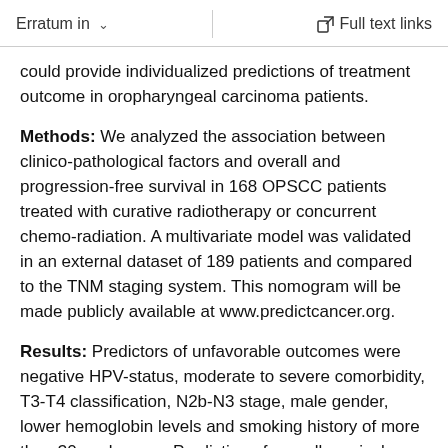Erratum in   Full text links
could provide individualized predictions of treatment outcome in oropharyngeal carcinoma patients.
Methods: We analyzed the association between clinico-pathological factors and overall and progression-free survival in 168 OPSCC patients treated with curative radiotherapy or concurrent chemo-radiation. A multivariate model was validated in an external dataset of 189 patients and compared to the TNM staging system. This nomogram will be made publicly available at www.predictcancer.org.
Results: Predictors of unfavorable outcomes were negative HPV-status, moderate to severe comorbidity, T3-T4 classification, N2b-N3 stage, male gender, lower hemoglobin levels and smoking history of more than 30 pack years. Prediction of overall survival using the multi-parameter model yielded a C-index of 0.82 (95% CI